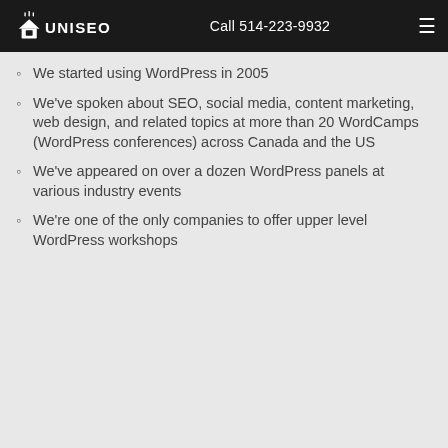UNISEO | Call 514-223-9932
We started using WordPress in 2005
We've spoken about SEO, social media, content marketing, web design, and related topics at more than 20 WordCamps (WordPress conferences) across Canada and the US
We've appeared on over a dozen WordPress panels at various industry events
We're one of the only companies to offer upper level WordPress workshops